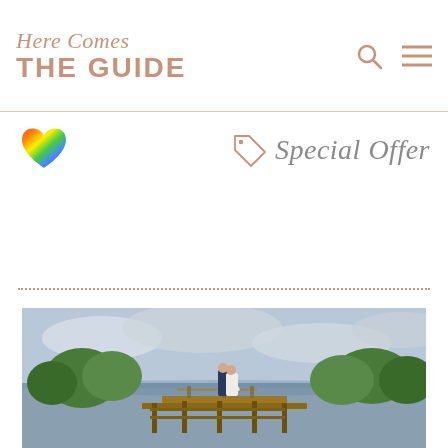Here Comes THE GUIDE
[Figure (logo): Rainbow heart icon]
Special Offer
[Figure (photo): A couple (bride in white dress, groom in navy suit) kissing on a wooden dock over a calm lake, with trees and overcast sky in the background.]